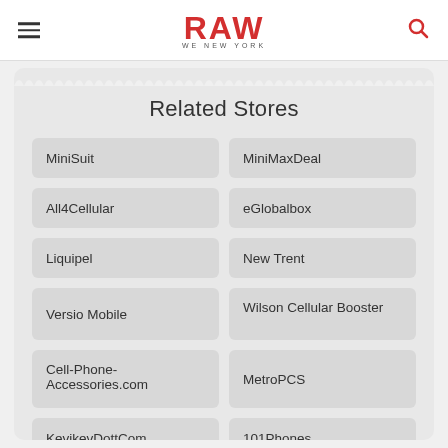RAW — We New York
Related Stores
MiniSuit
MiniMaxDeal
All4Cellular
eGlobalbox
Liquipel
New Trent
Versio Mobile
Wilson Cellular Booster
Cell-Phone-Accessories.com
MetroPCS
KevikevDottCom
101Phones